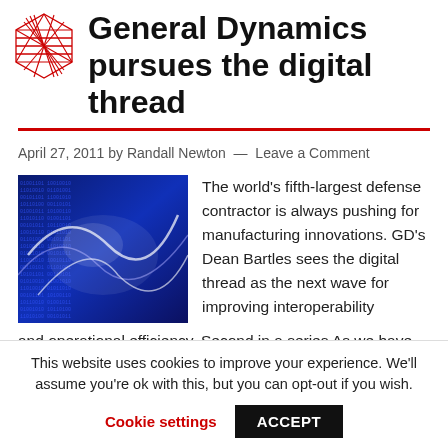General Dynamics pursues the digital thread
April 27, 2011 by Randall Newton — Leave a Comment
[Figure (photo): Blue digital/circuit board abstract image with white light streaks representing digital thread concept]
The world's fifth-largest defense contractor is always pushing for manufacturing innovations. GD's Dean Bartles sees the digital thread as the next wave for improving interoperability and operational efficiency. Second in a series As we have reported before, a new slant on interoperability and
This website uses cookies to improve your experience. We'll assume you're ok with this, but you can opt-out if you wish.
Cookie settings   ACCEPT